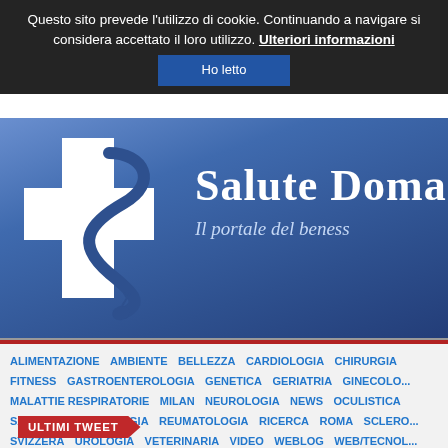Questo sito prevede l'utilizzo di cookie. Continuando a navigare si considera accettato il loro utilizzo. Ulteriori informazioni
Ho letto
[Figure (logo): Salute Domani logo: white medical cross with blue snake (caduceus style), site name 'Salute Doma...' and tagline 'Il portale del beness...' on blue gradient background]
ALIMENTAZIONE  AMBIENTE  BELLEZZA  CARDIOLOGIA  CHIRURGIA  FITNESS  GASTROENTEROLOGIA  GENETICA  GERIATRIA  GINECOLO...  MALATTIE RESPIRATORIE  MILAN  NEUROLOGIA  NEWS  OCULISTICA  SANITARIA  PSICOLOGIA  REUMATOLOGIA  RICERCA  ROMA  SCLERO...  SVIZZERA  UROLOGIA  VETERINARIA  VIDEO  WEBLOG  WEB/TECNOL...
ULTIMI TWEET